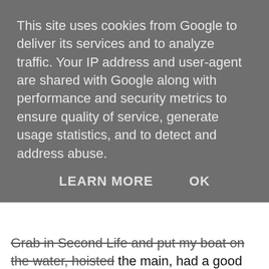This site uses cookies from Google to deliver its services and to analyze traffic. Your IP address and user-agent are shared with Google along with performance and security metrics to ensure quality of service, generate usage statistics, and to detect and address abuse.
LEARN MORE   OK
Grab in Second Life and put my boat on the water, hoisted the main, had a good practice then the 2 minute gun went, and a good 8-12 boats were there jostling for position on the line, it was pretty cool. You are at the mercy of Computer processing power and the bandwidth of your web connection so you get some jerking at times but otherwise the experience is pretty groovy... I took part in about 4 races, never finished one of the bloody things... first race I was late to the start! Second race I got ground on an island while I was popping the spinnaker up! 3rd race, good start boats all around me, some pulled away, some dropped back, going ok...then I got lost! The course is not straightforward, around marks around islands etc... I really havent got my head round it (I need James to help me navigate!), same happened in my last race as well, going well, started